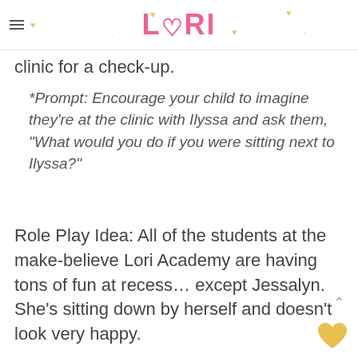LORI
clinic for a check-up.
*Prompt: Encourage your child to imagine they’re at the clinic with Ilyssa and ask them, “What would you do if you were sitting next to Ilyssa?”
Role Play Idea: All of the students at the make-believe Lori Academy are having tons of fun at recess… except Jessalyn. She’s sitting down by herself and doesn’t look very happy.